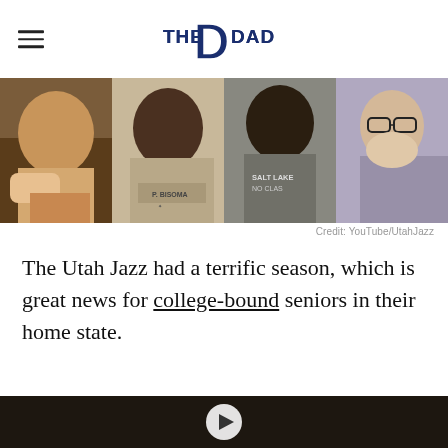THE DAD
[Figure (photo): Four-panel collage of young people reacting to something: a laughing young man covering his face, a smiling young woman wearing a 'P. BISOMA' shirt with a medical star logo, a young man in a 'Salt Lake No Class' shirt looking away, and a woman with glasses covering her mouth in surprise.]
Credit: YouTube/UtahJazz
The Utah Jazz had a terrific season, which is great news for college-bound seniors in their home state.
[Figure (screenshot): Bottom portion of a video thumbnail showing a dark outdoor scene with a play button circle at the bottom center.]